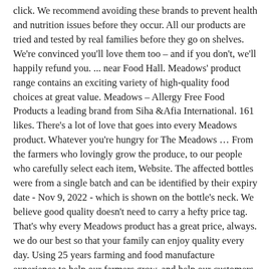click. We recommend avoiding these brands to prevent health and nutrition issues before they occur. All our products are tried and tested by real families before they go on shelves. We're convinced you'll love them too – and if you don't, we'll happily refund you. ... near Food Hall. Meadows' product range contains an exciting variety of high-quality food choices at great value. Meadows – Allergy Free Food Products a leading brand from Siha &Afia International. 161 likes. There's a lot of love that goes into every Meadows product. Whatever you're hungry for The Meadows … From the farmers who lovingly grow the produce, to our people who carefully select each item, Website. The affected bottles were from a single batch and can be identified by their expiry date - Nov 9, 2022 - which is shown on the bottle's neck. We believe good quality doesn't need to carry a hefty price tag. That's why every Meadows product has a great price, always. we do our best so that your family can enjoy quality every day. Using 25 years farming and food manufacture experience to help our farmers grow, and help our customers thrive. Meadow Gold ® Dairy has been producing fresh quality dairy products since 1901, making us the inter-mountain region's oldest and largest full-service dairy company. Same day delivery. Ol' Roy – Has been repeatedly recalled for containing drugs like pentobarbital, a euthanasia drug, and salmonella contamination. Key Food launching Urban Meadow private brand Jon Springer | Oct 27, 2016 Key Food Stores Co-operative on Thursday announced it was launching a